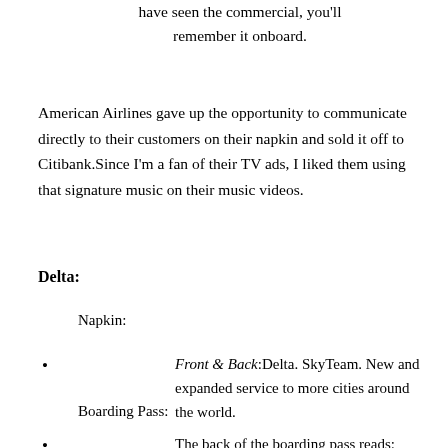have seen the commercial, you'll remember it onboard.
American Airlines gave up the opportunity to communicate directly to their customers on their napkin and sold it off to Citibank.Since I'm a fan of their TV ads, I liked them using that signature music on their music videos.
Delta:
Napkin:
Front & Back:Delta. SkyTeam. New and expanded service to more cities around the world.
Boarding Pass:
The back of the boarding pass reads: Visit a